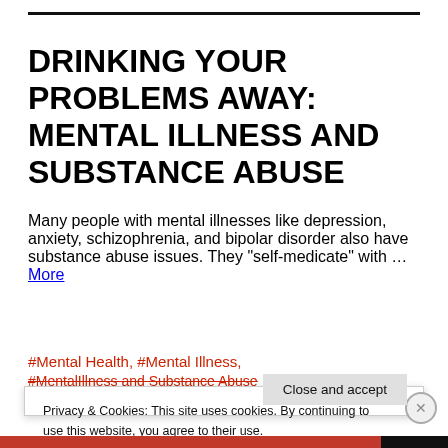DRINKING YOUR PROBLEMS AWAY: MENTAL ILLNESS AND SUBSTANCE ABUSE
Many people with mental illnesses like depression, anxiety, schizophrenia, and bipolar disorder also have substance abuse issues. They "self-medicate" with … More
#Mental Health, #Mental Illness,
#MentalIllness and Substance Abuse
Privacy & Cookies: This site uses cookies. By continuing to use this website, you agree to their use.
To find out more, including how to control cookies, see here: Cookie Policy
Close and accept